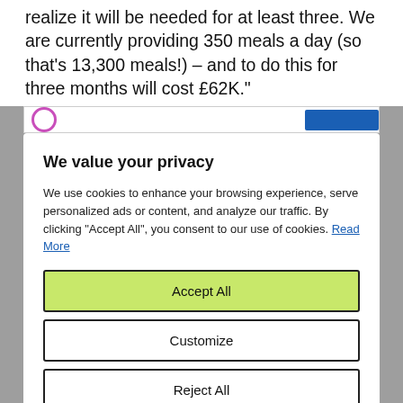realize it will be needed for at least three. We are currently providing 350 meals a day (so that's 13,300 meals!) – and to do this for three months will cost £62K."
[Figure (screenshot): Partially visible UI bar with pink circle icon and blue button, cut off at the top of the cookie consent modal overlay.]
We value your privacy
We use cookies to enhance your browsing experience, serve personalized ads or content, and analyze our traffic. By clicking "Accept All", you consent to our use of cookies. Read More
Accept All
Customize
Reject All